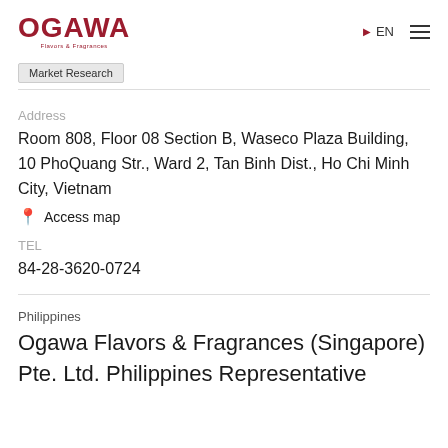OGAWA Flavors & Fragrances | EN
Market Research
Address
Room 808, Floor 08 Section B, Waseco Plaza Building, 10 PhoQuang Str., Ward 2, Tan Binh Dist., Ho Chi Minh City, Vietnam
Access map
TEL
84-28-3620-0724
Philippines
Ogawa Flavors & Fragrances (Singapore) Pte. Ltd. Philippines Representative